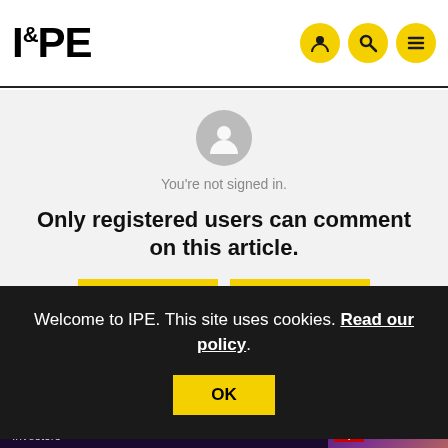IPE
You're not signed in.
Only registered users can comment on this article.
Welcome to IPE. This site uses cookies. Read our policy.
OK
Morningstar Investment Conference for Institutional Investors